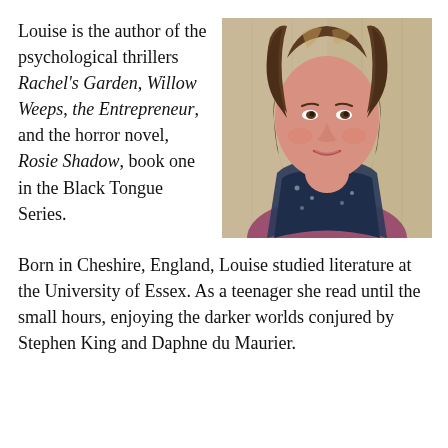Louise is the author of the psychological thrillers Rachel's Garden, Willow Weeps, the Entrepreneur, and the horror novel, Rosie Shadow, book one in the Black Tongue Series.
[Figure (photo): A woman with medium-length wavy brown hair, wearing a dark floral scarf and a purple/pink top, smiling slightly, with a wooden background.]
Born in Cheshire, England, Louise studied literature at the University of Essex. As a teenager she read until the small hours, enjoying the darker worlds conjured by Stephen King and Daphne du Maurier.